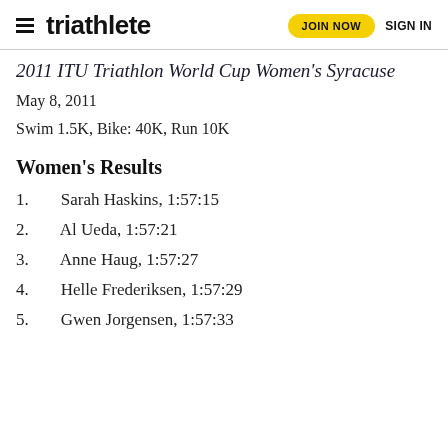triathlete — JOIN NOW  SIGN IN
2011 ITU Triathlon World Cup Women's Syracuse (partial)
May 8, 2011
Swim 1.5K, Bike: 40K, Run 10K
Women's Results
1.   Sarah Haskins, 1:57:15
2.   Al Ueda, 1:57:21
3.   Anne Haug, 1:57:27
4.   Helle Frederiksen, 1:57:29
5.   Gwen Jorgensen, 1:57:33